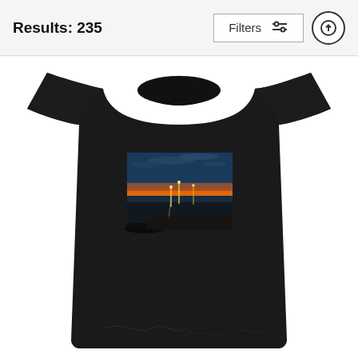Results: 235
Filters
[Figure (screenshot): A black t-shirt product listing showing a printed photo of a coastal/beach sunset scene with lights reflecting on water. The shirt is black and displayed on a white background.]